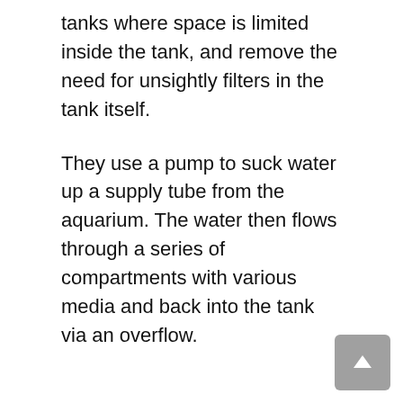tanks where space is limited inside the tank, and remove the need for unsightly filters in the tank itself.
They use a pump to suck water up a supply tube from the aquarium. The water then flows through a series of compartments with various media and back into the tank via an overflow.
We have reviewed many fish tank filters and one of the most popular brands is AquaClear – see here..